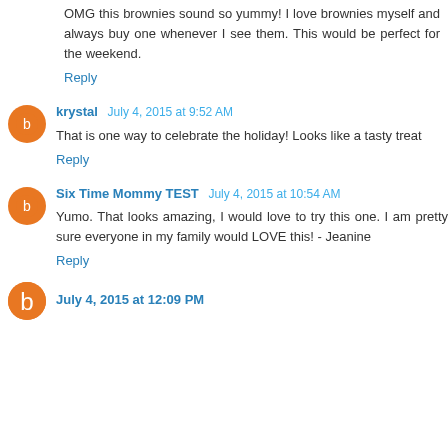OMG this brownies sound so yummy! I love brownies myself and always buy one whenever I see them. This would be perfect for the weekend.
Reply
krystal  July 4, 2015 at 9:52 AM
That is one way to celebrate the holiday! Looks like a tasty treat
Reply
Six Time Mommy TEST  July 4, 2015 at 10:54 AM
Yumo. That looks amazing, I would love to try this one. I am pretty sure everyone in my family would LOVE this! - Jeanine
Reply
July 4, 2015 at 12:09 PM